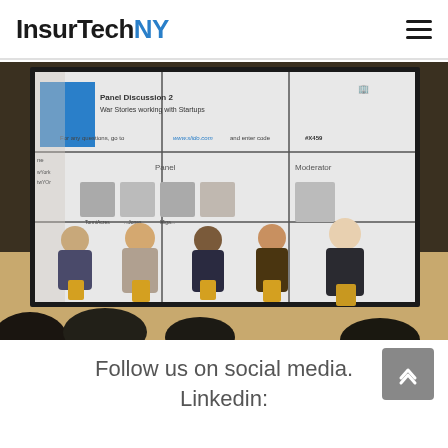InsurTechNY
[Figure (photo): Panel discussion event photo showing five panelists seated on stage in front of a large projection screen displaying 'Panel Discussion 2 - War Stories working with Startups'. The screen shows headshots of panelists and moderator, and instructs audience to go to www.slido.com and enter code #X459. Audience members are visible in the foreground.]
Follow us on social media.
Linkedin: